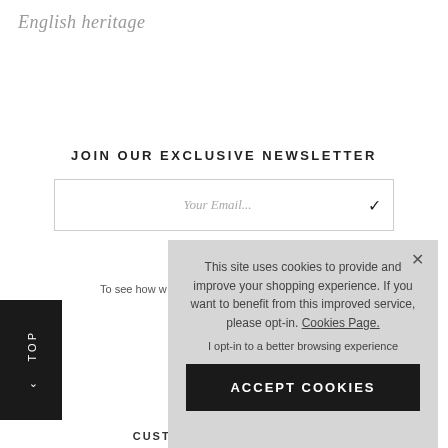English heritage
JOIN OUR EXCLUSIVE NEWSLETTER
Your Email...
To see how w
E: s
< TOP
[Figure (screenshot): Cookie consent overlay popup with text: 'This site uses cookies to provide and improve your shopping experience. If you want to benefit from this improved service, please opt-in. Cookies Page.' and 'I opt-in to a better browsing experience' and an ACCEPT COOKIES button. Close X button in top right.]
CUSTOMER INFORMATION